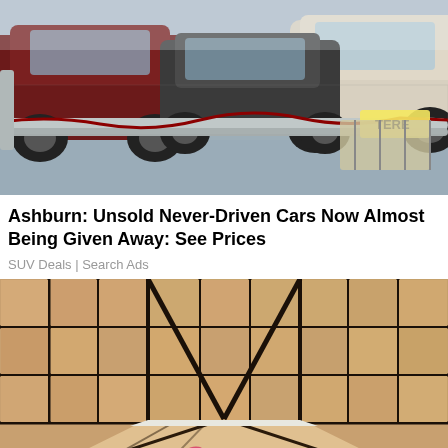[Figure (photo): Outdoor car lot with several SUVs parked behind a chain-link fence with metal pipes, partially covered in snow or frost. A red SUV and a white SUV are visible among others. A yellow sign with 'TERE' text is visible on the right.]
Ashburn: Unsold Never-Driven Cars Now Almost Being Given Away: See Prices
SUV Deals | Search Ads
[Figure (photo): Close-up of a bathroom or shower corner showing beige/tan ceramic tiles with dark, mold-stained grout lines. A hand wearing a pink rubber glove is pointing at the lower corner of the tile wall meeting the white floor.]